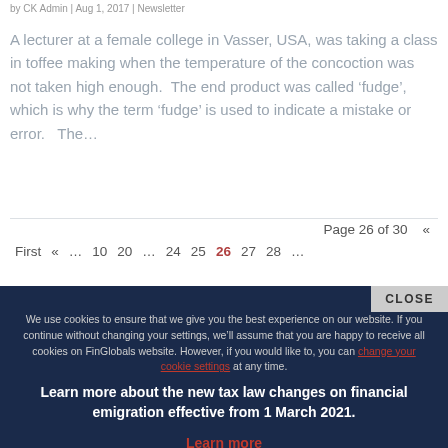by CK Admin | Aug 1, 2017 | Newsletter
A lecturer at a female college in Vasser, USA, was taking a class in toffee making when the temperature of the concoction was not taken high enough.  The end product was called ‘fudge’, which is why the term ‘fudge’ is used to indicate a mistake or error.   The…
Page 26 of 30  «
First  «  …  10  20  …  24  25  26  27  28  …
CLOSE
We use cookies to ensure that we give you the best experience on our website. If you continue without changing your settings, we’ll assume that you are happy to receive all cookies on FinGlobals website. However, if you would like to, you can change your cookie settings at any time.
Learn more about the new tax law changes on financial emigration effective from 1 March 2021.
Learn more